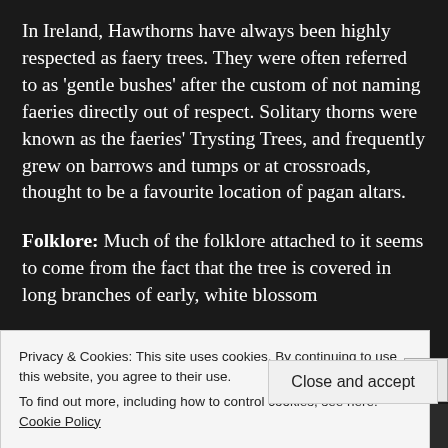In Ireland, Hawthorns have always been highly respected as faery trees. They were often referred to as 'gentle bushes' after the custom of not naming faeries directly out of respect. Solitary thorns were known as the faeries' Trysting Trees, and frequently grew on barrows and tumps or at crossroads, thought to be a favourite location of pagan altars.
Folklore: Much of the folklore attached to it seems to come from the fact that the tree is covered in long branches of early, white blossom
Privacy & Cookies: This site uses cookies. By continuing to use this website, you agree to their use.
To find out more, including how to control cookies, see here: Cookie Policy
Close and accept
All in One Free App
DuckDuckGo